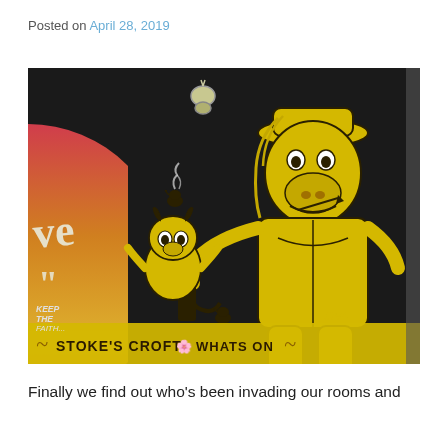Posted on April 28, 2019
[Figure (photo): Street art mural on a building wall, black background with yellow cartoon characters. A large anthropomorphic horse/donkey figure wearing a hat holds a small creature. Text at the bottom reads 'STOKE'S CROFT' and 'WHATS ON'. Small text in lower left reads 'KEEP THE FAITH...'. Partial text on the left side reads 've'.]
Finally we find out who's been invading our rooms and